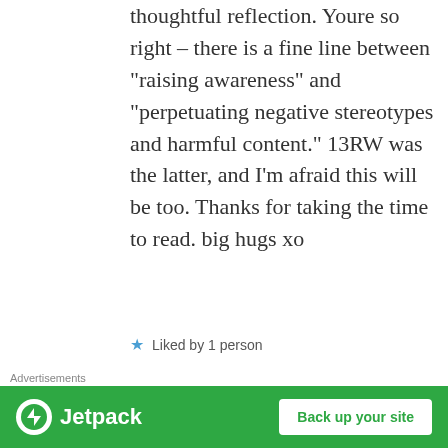thoughtful reflection. Youre so right – there is a fine line between “raising awareness” and “perpetutating negative stereotypes and harmful content.” 13RW was the latter, and I’m afraid this will be too. Thanks for taking the time to read. big hugs xo
Liked by 1 person
Reply
stepbackandbreathe33 says:
[Figure (screenshot): Advertisement banner: Jetpack logo with 'Back up your site' button on green background]